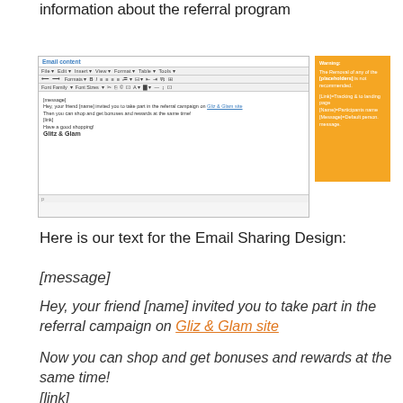information about the referral program
[Figure (screenshot): Screenshot of an email editor showing referral campaign email content with an orange warning box on the right indicating placeholders: [Link]=Tracking & to landing page, [Name]=Participants name, [Message]=Default person. message.]
Here is our text for the Email Sharing Design:
[message]
Hey, your friend [name] invited you to take part in the referral campaign on Gliz & Glam site
Now you can shop and get bonuses and rewards at the same time!
[link]